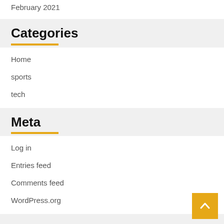February 2021
Categories
Home
sports
tech
Meta
Log in
Entries feed
Comments feed
WordPress.org